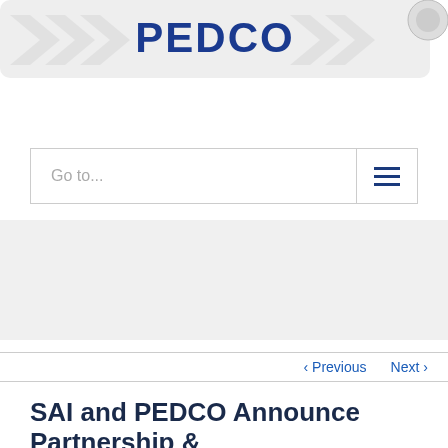[Figure (logo): PEDCO logo banner with chevron/arrow shapes on a light gray background with a rolled-corner scroll effect on the right side. The word PEDCO is displayed in large dark navy/blue bold text centered on the banner.]
Go to...
≡ (hamburger menu icon)
‹ Previous   Next ›
SAI and PEDCO Announce Partnership &